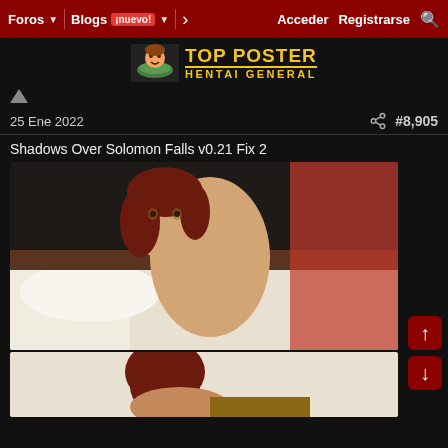Foros | Blogs ¡nuevo! | > | Acceder | Registrarse | 🔍
[Figure (logo): Top Poster Hentai General logo with cartoon character icon and yellow text]
25 Ene 2022
#8,905
Shadows Over Solomon Falls v0.21 Fix 2
[Figure (photo): 3D rendered image of a red-haired woman lying on a bed]
[Figure (photo): 3D rendered image partially visible showing the back of a red-haired woman's head]